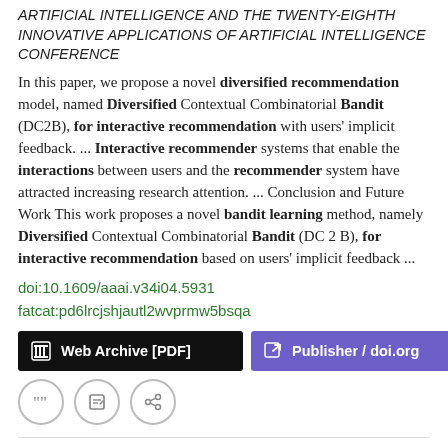ARTIFICIAL INTELLIGENCE AND THE TWENTY-EIGHTH INNOVATIVE APPLICATIONS OF ARTIFICIAL INTELLIGENCE CONFERENCE
In this paper, we propose a novel diversified recommendation model, named Diversified Contextual Combinatorial Bandit (DC2B), for interactive recommendation with users' implicit feedback.  ...  Interactive recommender systems that enable the interactions between users and the recommender system have attracted increasing research attention.  ...  Conclusion and Future Work This work proposes a novel bandit learning method, namely Diversified Contextual Combinatorial Bandit (DC 2 B), for interactive recommendation based on users' implicit feedback  ...
doi:10.1609/aaai.v34i04.5931
fatcat:pd6lrcjshjautl2wvprmw5bsqa
Web Archive [PDF]   Publisher / doi.org
Recent Advances in Diversified Recommendation [ARTICLE]
Qiong Wu, Yong Liu, Chunyan Miao, Yin Zhao, Lu Guan, Haihong Tang